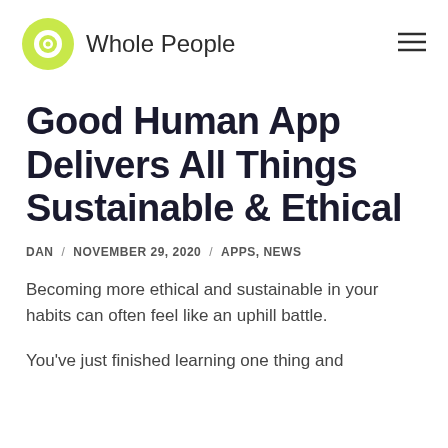Whole People
Good Human App Delivers All Things Sustainable & Ethical
DAN / NOVEMBER 29, 2020 / APPS, NEWS
Becoming more ethical and sustainable in your habits can often feel like an uphill battle.
You've just finished learning one thing and